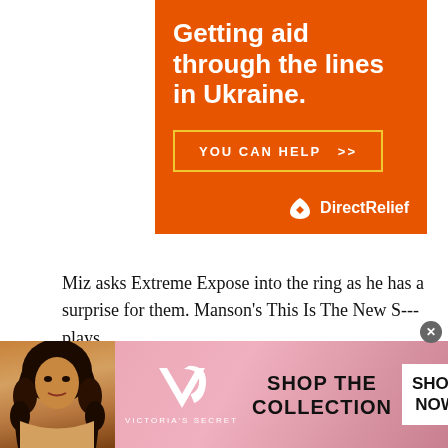[Figure (illustration): Orange Direct Relief advertisement banner. Headline: 'Getting aid through the lines in Ukraine.' with a yellow-bordered button 'YOU CAN HELP >>' and the Direct Relief logo at bottom right.]
Miz asks Extreme Expose into the ring as he has a surprise for them. Manson's This Is The New S--- plays
[Figure (illustration): Victoria's Secret advertisement banner with a woman model on the left, VS logo in center, 'SHOP THE COLLECTION' text, and a 'SHOP NOW' white button on the right. Pink gradient background.]